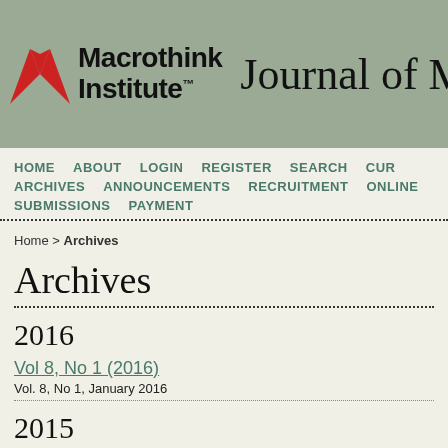Macrothink Institute™ Journal of M
HOME   ABOUT   LOGIN   REGISTER   SEARCH   CUR
ARCHIVES   ANNOUNCEMENTS   RECRUITMENT   ONLINE
SUBMISSIONS   PAYMENT
Home > Archives
Archives
2016
Vol 8, No 1 (2016)
Vol. 8, No 1, January 2016
2015
Vol 7, No 5 (2015)
Vol. 7, No. 5, October 2015
Vol 7, No 4 (2015)
Vol. 7, No. 4, July 2015